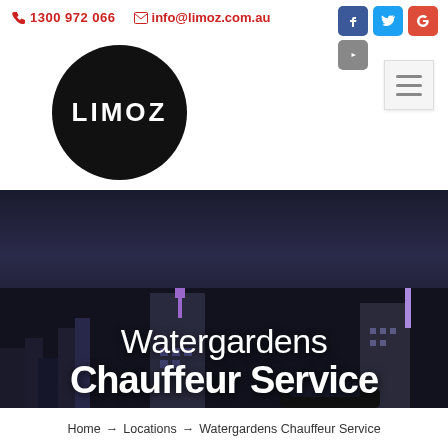☏ 1300 972 066  ✉ info@limoz.com.au
[Figure (logo): LIMOZ logo — white text in black circle]
Watergardens Chauffeur Service
Home → Locations → Watergardens Chauffeur Service